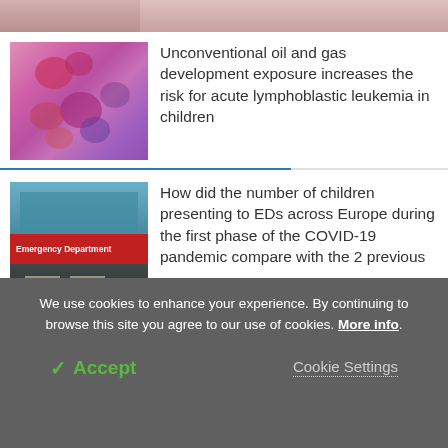[Figure (photo): Partial view of a skin/body photo at the top of the page, cropped]
[Figure (photo): Microscopy image of blood cells showing lymphoblasts, pink and purple cells on a slide]
Unconventional oil and gas development exposure increases the risk for acute lymphoblastic leukemia in children
[Figure (photo): Photo of a hospital Emergency Department entrance with red signage reading 'Emergency Department']
How did the number of children presenting to EDs across Europe during the first phase of the COVID-19 pandemic compare with the 2 previous
We use cookies to enhance your experience. By continuing to browse this site you agree to our use of cookies. More info.
✓ Accept
Cookie Settings